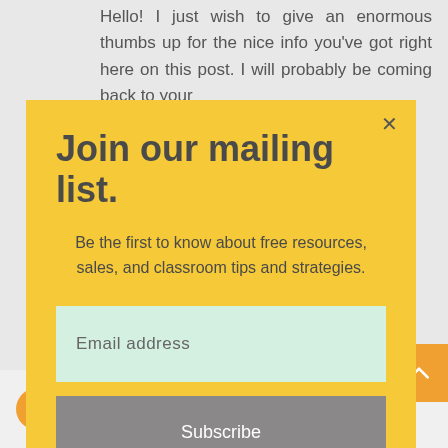Hello! I just wish to give an enormous thumbs up for the nice info you've got right here on this post. I will probably be coming back to your
Join our mailing list.
Be the first to know about free resources, sales, and classroom tips and strategies.
Email address
Subscribe
bombay January 17, 2021 at 11:32 PM